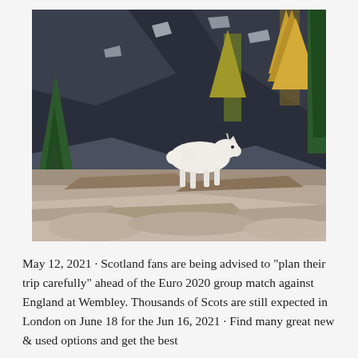[Figure (photo): A white mountain goat standing on rocky terrain with dark mountain cliffs in the background, surrounded by green and yellow-orange conifer trees.]
May 12, 2021 · Scotland fans are being advised to "plan their trip carefully" ahead of the Euro 2020 group match against England at Wembley. Thousands of Scots are still expected in London on June 18 for the Jun 16, 2021 · Find many great new & used options and get the best